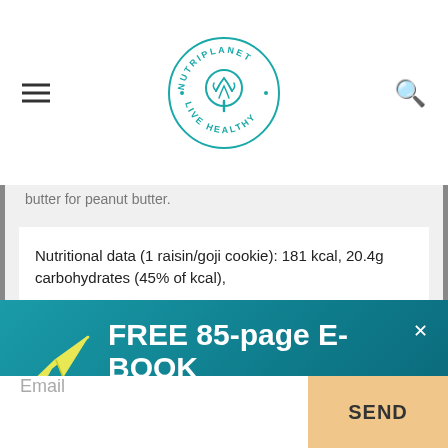NUTRIPLANET · LIVE HEALTHY
butter for peanut butter.
Nutritional data (1 raisin/goji cookie): 181 kcal, 20.4g carbohydrates (45% of kcal),
FREE 85-page E-BOOK
Guide to Transitioning to Healthy Whole Food Diet
Email
SEND